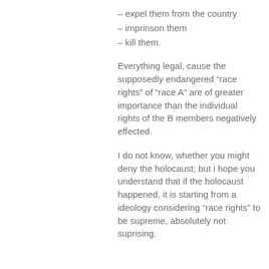– expel them from the country
– imprinson them
– kill them.
Everything legal, cause the supposedly endangered “race rights” of “race A” are of greater importance than the individual rights of the B members negatively effected.
I do not know, whether you might deny the holocaust; but i hope you understand that if the holocaust happened, it is starting from a ideology considering “race rights” to be supreme, absolutely not suprising.